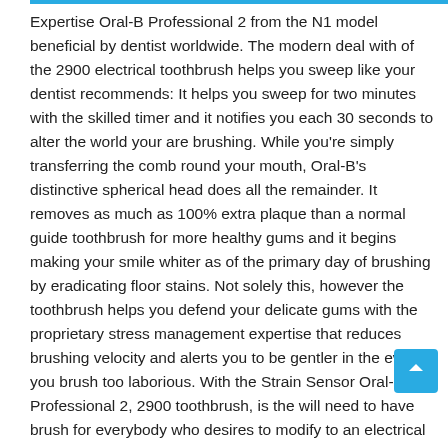Expertise Oral-B Professional 2 from the N1 model beneficial by dentist worldwide. The modern deal with of the 2900 electrical toothbrush helps you sweep like your dentist recommends: It helps you sweep for two minutes with the skilled timer and it notifies you each 30 seconds to alter the world your are brushing. While you're simply transferring the comb round your mouth, Oral-B's distinctive spherical head does all the remainder. It removes as much as 100% extra plaque than a normal guide toothbrush for more healthy gums and it begins making your smile whiter as of the primary day of brushing by eradicating floor stains. Not solely this, however the toothbrush helps you defend your delicate gums with the proprietary stress management expertise that reduces brushing velocity and alerts you to be gentler in the event you brush too laborious. With the Strain Sensor Oral-B Professional 2, 2900 toothbrush, is the will need to have brush for everybody who desires to modify to an electrical toothbrush and enhance their oral well being. No surprise Oral-B is the N1 beneficial model by dentists worldwide. Oral-B Professional 2, 2900 electrical rechargeable toothbrush is suitable